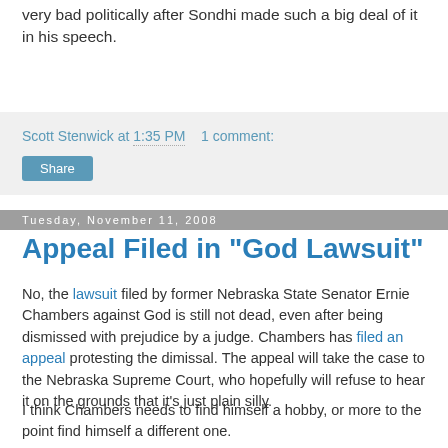very bad politically after Sondhi made such a big deal of it in his speech.
Scott Stenwick at 1:35 PM   1 comment:
Share
Tuesday, November 11, 2008
Appeal Filed in "God Lawsuit"
No, the lawsuit filed by former Nebraska State Senator Ernie Chambers against God is still not dead, even after being dismissed with prejudice by a judge. Chambers has filed an appeal protesting the dimissal. The appeal will take the case to the Nebraska Supreme Court, who hopefully will refuse to hear it on the grounds that it's just plain silly.
I think Chambers needs to find himself a hobby, or more to the point find himself a different one.